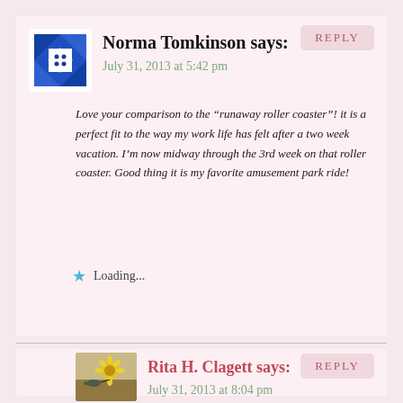REPLY
Norma Tomkinson says:
July 31, 2013 at 5:42 pm
Love your comparison to the “runaway roller coaster”! it is a perfect fit to the way my work life has felt after a two week vacation. I’m now midway through the 3rd week on that roller coaster. Good thing it is my favorite amusement park ride!
Loading...
REPLY
Rita H. Clagett says:
July 31, 2013 at 8:04 pm